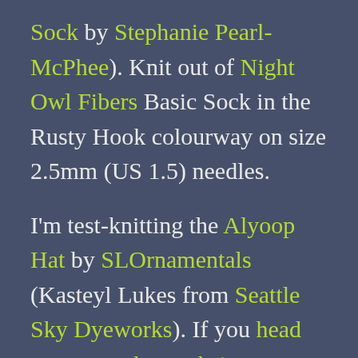Sock by Stephanie Pearl-McPhee). Knit out of Night Owl Fibers Basic Sock in the Rusty Hook colourway on size 2.5mm (US 1.5) needles. I'm test-knitting the Alyoop Hat by SLOrnamentals (Kasteyl Lukes from Seattle Sky Dyeworks). If you head on over to her website, newsletter subscribers will be given a code to